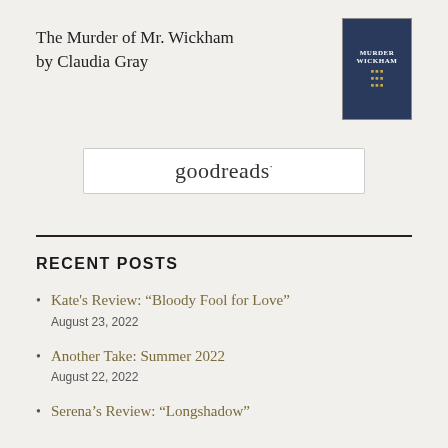The Murder of Mr. Wickham by Claudia Gray
[Figure (illustration): Book cover of 'The Murder of Mr. Wickham' by Claudia Gray, dark blue background with title text]
[Figure (logo): Goodreads widget/logo in a rounded rectangle border]
RECENT POSTS
Kate's Review: “Bloody Fool for Love”
August 23, 2022
Another Take: Summer 2022
August 22, 2022
Serena’s Review: “Longshadow”